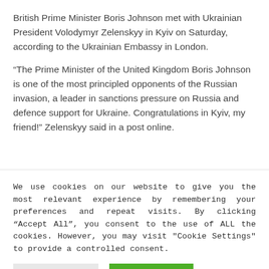British Prime Minister Boris Johnson met with Ukrainian President Volodymyr Zelenskyy in Kyiv on Saturday, according to the Ukrainian Embassy in London.
“The Prime Minister of the United Kingdom Boris Johnson is one of the most principled opponents of the Russian invasion, a leader in sanctions pressure on Russia and defence support for Ukraine. Congratulations in Kyiv, my friend!” Zelenskyy said in a post online.
We use cookies on our website to give you the most relevant experience by remembering your preferences and repeat visits. By clicking “Accept All”, you consent to the use of ALL the cookies. However, you may visit "Cookie Settings" to provide a controlled consent.